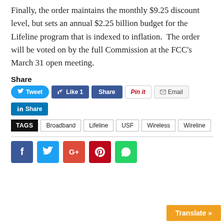Finally, the order maintains the monthly $9.25 discount level, but sets an annual $2.25 billion budget for the Lifeline program that is indexed to inflation.  The order will be voted on by the full Commission at the FCC’s March 31 open meeting.
Share
[Figure (other): Social sharing buttons: Tweet, Like 1, Share (Facebook), Pin it, Email, LinkedIn Share]
TAGS  Broadband  Lifeline  USF  Wireless  Wireline
[Figure (other): Social media icon buttons: Facebook, Twitter, Google+, Pinterest, WhatsApp]
Translate »